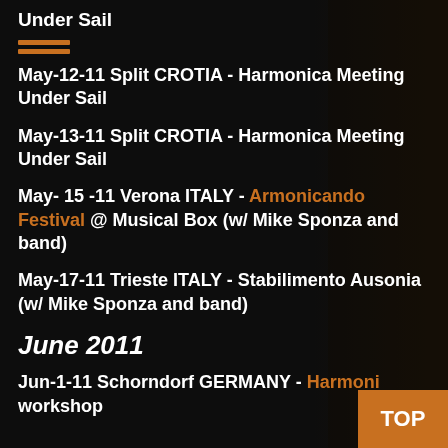Under Sail
May-12-11 Split CROTIA - Harmonica Meeting Under Sail
May-13-11 Split CROTIA - Harmonica Meeting Under Sail
May- 15 -11 Verona ITALY - Armonicando Festival @ Musical Box (w/ Mike Sponza and band)
May-17-11 Trieste ITALY - Stabilimento Ausonia (w/ Mike Sponza and band)
June 2011
Jun-1-11 Schorndorf GERMANY - Harmoni... workshop